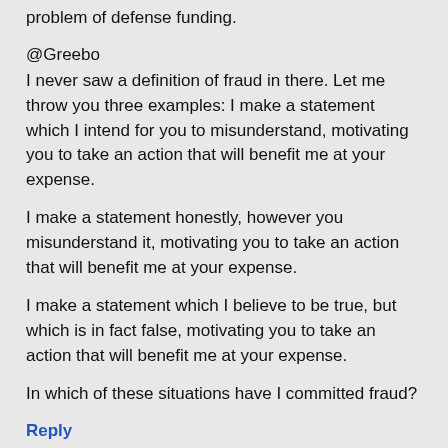problem of defense funding.
@Greebo
I never saw a definition of fraud in there. Let me throw you three examples: I make a statement which I intend for you to misunderstand, motivating you to take an action that will benefit me at your expense.
I make a statement honestly, however you misunderstand it, motivating you to take an action that will benefit me at your expense.
I make a statement which I believe to be true, but which is in fact false, motivating you to take an action that will benefit me at your expense.
In which of these situations have I committed fraud?
Reply